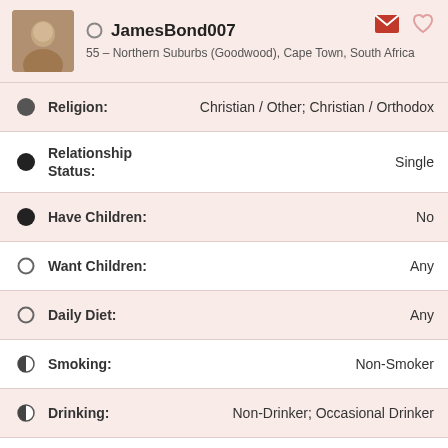JamesBond007
55 – Northern Suburbs (Goodwood), Cape Town, South Africa
Religion: Christian / Other; Christian / Orthodox
Relationship Status: Single
Have Children: No
Want Children: Any
Daily Diet: Any
Smoking: Non-Smoker
Drinking: Non-Drinker; Occasional Drinker
Education: Any